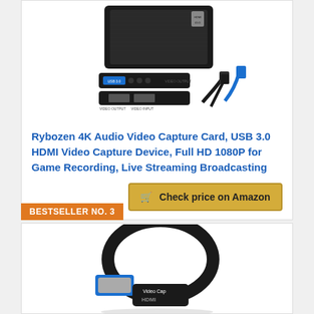[Figure (photo): Photo of Rybozen 4K Audio Video Capture Card showing the device body, ports (USB 3.0, HDMI input/output), and included USB and HDMI cables]
Rybozen 4K Audio Video Capture Card, USB 3.0 HDMI Video Capture Device, Full HD 1080P for Game Recording, Live Streaming Broadcasting
Check price on Amazon
BESTSELLER NO. 3
[Figure (photo): Photo of a small HDMI video capture dongle device with USB 3.0 connector, showing 'HDMI Video Capture' text on the device body]